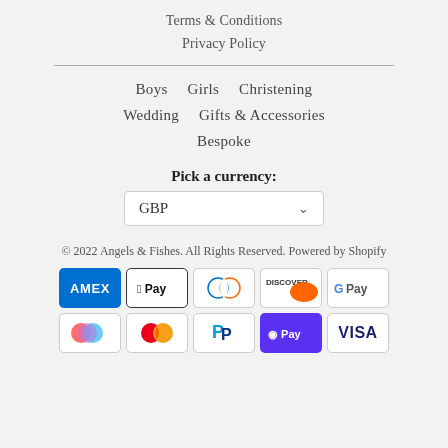Terms & Conditions
Privacy Policy
Boys   Girls   Christening
Wedding   Gifts & Accessories
Bespoke
Pick a currency:
GBP
© 2022 Angels & Fishes. All Rights Reserved. Powered by Shopify
[Figure (logo): Payment method icons: Amex, Apple Pay, Diners Club, Discover, Google Pay, Multicolor circles, Mastercard, PayPal, Shop Pay, Visa]